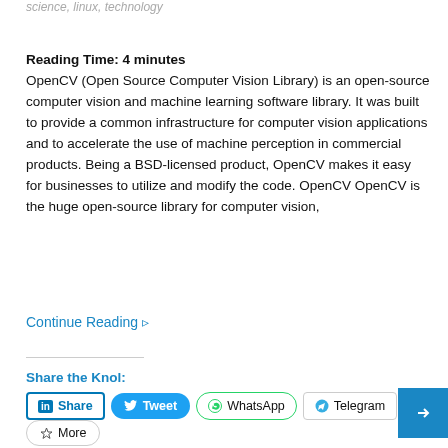science, linux, technology
Reading Time: 4 minutes
OpenCV (Open Source Computer Vision Library) is an open-source computer vision and machine learning software library. It was built to provide a common infrastructure for computer vision applications and to accelerate the use of machine perception in commercial products. Being a BSD-licensed product, OpenCV makes it easy for businesses to utilize and modify the code. OpenCV OpenCV is the huge open-source library for computer vision,
Continue Reading ▹
Share the Knol: